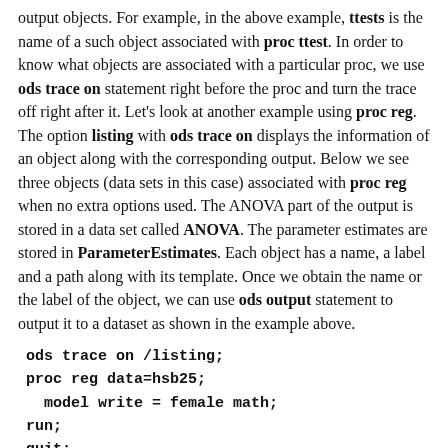output objects. For example, in the above example, ttests is the name of a such object associated with proc ttest. In order to know what objects are associated with a particular proc, we use ods trace on statement right before the proc and turn the trace off right after it. Let's look at another example using proc reg. The option listing with ods trace on displays the information of an object along with the corresponding output. Below we see three objects (data sets in this case) associated with proc reg when no extra options used. The ANOVA part of the output is stored in a data set called ANOVA. The parameter estimates are stored in ParameterEstimates. Each object has a name, a label and a path along with its template. Once we obtain the name or the label of the object, we can use ods output statement to output it to a dataset as shown in the example above.
ods trace on /listing;
proc reg data=hsb25;
  model write = female math;
run;
quit;
ods trace off;